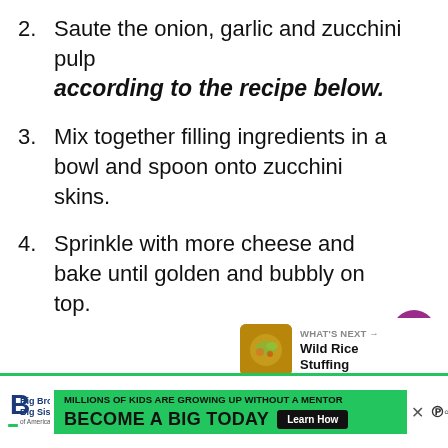2. Saute the onion, garlic and zucchini pulp according to the recipe below.
3. Mix together filling ingredients in a bowl and spoon onto zucchini skins.
4. Sprinkle with more cheese and bake until golden and bubbly on top.
[Figure (other): Purple circular favorite (heart) button]
[Figure (other): White circular share button with share icon]
[Figure (other): What's Next panel with food image thumbnail and text: Wild Rice Stuffing]
[Figure (other): Advertisement banner: Big Brothers Big Sisters – Millions of kids are growing up without a mentor. Become a Big Today. Learn How.]